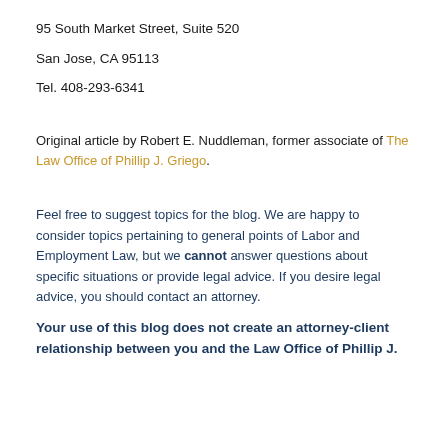95 South Market Street, Suite 520
San Jose, CA 95113
Tel. 408-293-6341
Original article by Robert E. Nuddleman, former associate of The Law Office of Phillip J. Griego.
Feel free to suggest topics for the blog. We are happy to consider topics pertaining to general points of Labor and Employment Law, but we cannot answer questions about specific situations or provide legal advice. If you desire legal advice, you should contact an attorney.
Your use of this blog does not create an attorney-client relationship between you and the Law Office of Phillip J.